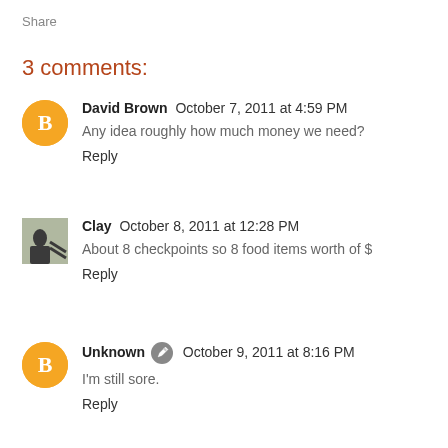Share
3 comments:
David Brown  October 7, 2011 at 4:59 PM
Any idea roughly how much money we need?
Reply
Clay  October 8, 2011 at 12:28 PM
About 8 checkpoints so 8 food items worth of $
Reply
Unknown  October 9, 2011 at 8:16 PM
I'm still sore.
Reply